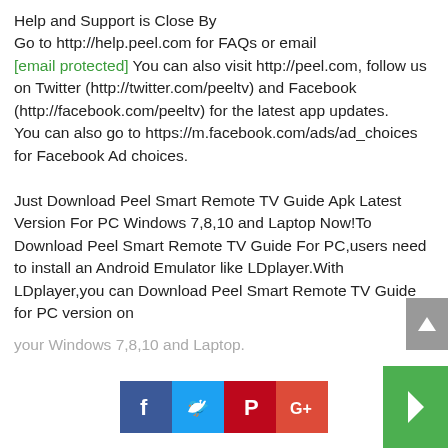Help and Support is Close By
Go to http://help.peel.com for FAQs or email [email protected] You can also visit http://peel.com, follow us on Twitter (http://twitter.com/peeltv) and Facebook (http://facebook.com/peeltv) for the latest app updates.
You can also go to https://m.facebook.com/ads/ad_choices for Facebook Ad choices.

Just Download Peel Smart Remote TV Guide Apk Latest Version For PC Windows 7,8,10 and Laptop Now!To Download Peel Smart Remote TV Guide For PC,users need to install an Android Emulator like LDplayer.With LDplayer,you can Download Peel Smart Remote TV Guide for PC version on your Windows 7,8,10 and Laptop.